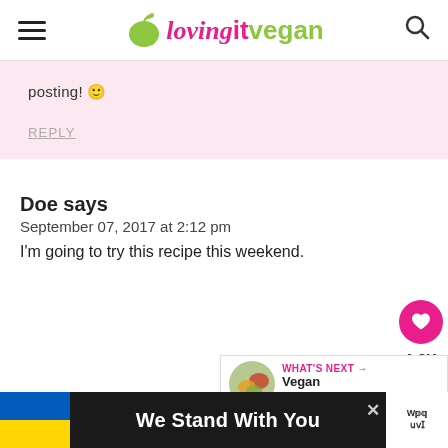lovingitvegan
posting! 🙂
REPLY
Doe says
September 07, 2017 at 2:12 pm
I'm going to try this recipe this weekend.
[Figure (infographic): Social share sidebar with heart button showing 1.2K likes and a share button]
[Figure (infographic): What's Next widget showing thumbnail and text 'Vegan Thousand...']
[Figure (infographic): Banner at bottom: Ukrainian flag, 'We Stand With You' text, close button, and small logo on right]